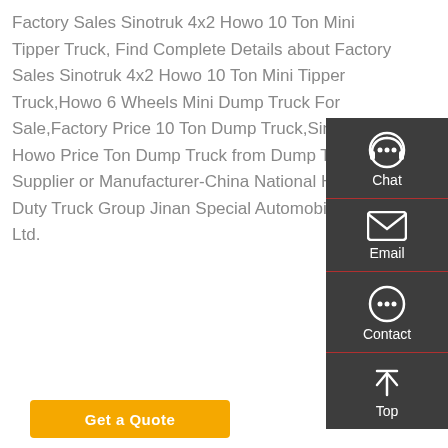Factory Sales Sinotruk 4x2 Howo 10 Ton Mini Tipper Truck, Find Complete Details about Factory Sales Sinotruk 4x2 Howo 10 Ton Mini Tipper Truck,Howo 6 Wheels Mini Dump Truck For Sale,Factory Price 10 Ton Dump Truck,Sinotruk Howo Price Ton Dump Truck from Dump Trucks Supplier or Manufacturer-China National Heavy Duty Truck Group Jinan Special Automobile Co., Ltd.
[Figure (infographic): Sidebar with Chat, Email, Contact, and Top navigation icons on dark grey background]
Chat
Email
Contact
Top
Get a Quote